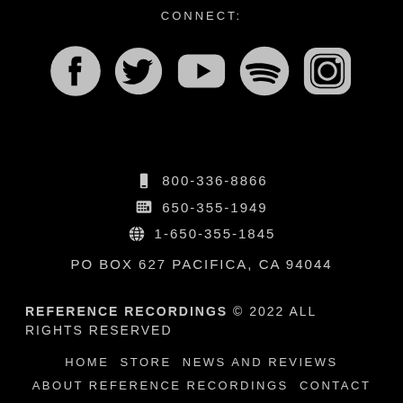CONNECT:
[Figure (illustration): Social media icons row: Facebook, Twitter, YouTube, Spotify, Instagram]
📱 800-336-8866
📠 650-355-1949
🌐 1-650-355-1845
PO BOX 627 PACIFICA, CA 94044
REFERENCE RECORDINGS © 2022 ALL RIGHTS RESERVED
HOME  STORE  NEWS AND REVIEWS
ABOUT REFERENCE RECORDINGS  CONTACT